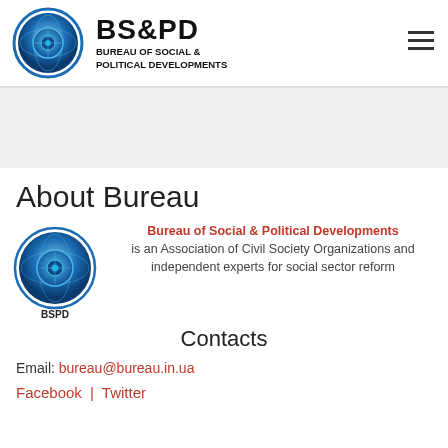[Figure (logo): BS&PD Bureau of Social & Political Developments globe logo in header]
BS&PD
BUREAU OF SOCIAL & POLITICAL DEVELOPMENTS
About Bureau
[Figure (logo): BSPD circular logo with globe and text 'BUREAU OF SOCIAL & POLITICAL DEVELOPMENTS' and 'BSPD' at bottom]
Bureau of Social & Political Developments is an Association of Civil Society Organizations and independent experts for social sector reform
Contacts
Email: bureau@bureau.in.ua
Facebook | Twitter